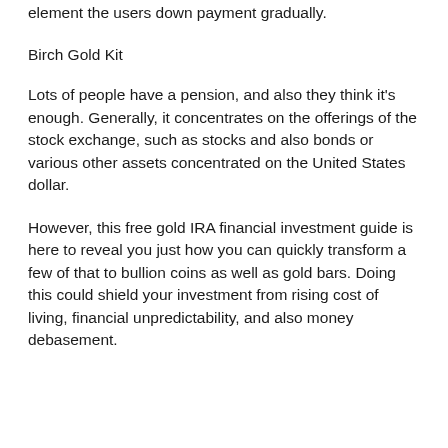element the users down payment gradually.
Birch Gold Kit
Lots of people have a pension, and also they think it’s enough. Generally, it concentrates on the offerings of the stock exchange, such as stocks and also bonds or various other assets concentrated on the United States dollar.
However, this free gold IRA financial investment guide is here to reveal you just how you can quickly transform a few of that to bullion coins as well as gold bars. Doing this could shield your investment from rising cost of living, financial unpredictability, and also money debasement.